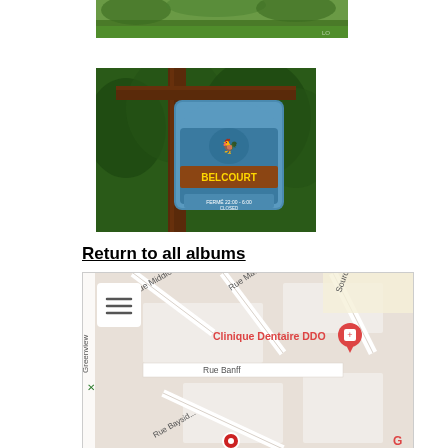[Figure (photo): Partial photo showing green grass and trees, top portion only]
[Figure (photo): Photo of Belcourt sign mounted on wooden post with trees in background. Sign reads 'BELCOURT' with 'FERME / CLOSED 22:00 - 6:00' below]
Return to all albums
[Figure (map): Google Maps screenshot showing street map with Clinique Dentaire DDO marker, streets include Rue Middleton, Rue Matignan, Sources Blvd, Rue Banff, Rue Bayside, Greenview]